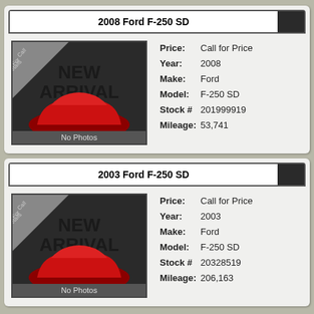2008 Ford F-250 SD
[Figure (illustration): New Arrival placeholder image with red car silhouette and 'No Photos' label]
Price: Call for Price
Year: 2008
Make: Ford
Model: F-250 SD
Stock # 201999919
Mileage: 53,741
2003 Ford F-250 SD
[Figure (illustration): New Arrival placeholder image with red car silhouette and 'No Photos' label]
Price: Call for Price
Year: 2003
Make: Ford
Model: F-250 SD
Stock # 20328519
Mileage: 206,163